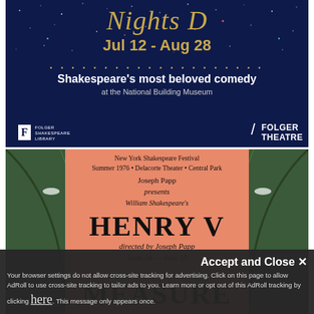[Figure (illustration): Folger Theatre advertisement for A Midsummer Night's Dream, dark blue starry night background, showing dates Jul 12 - Aug 28, tagline Shakespeare's most beloved comedy at the National Building Museum, with Folger Shakespeare Library and Folger Theatre logos]
[Figure (photo): New York Shakespeare Festival, Summer 1976, Delacorte Theater, Central Park poster. Joseph Papp presents William Shakespeare's Henry V, directed by Joseph Papp, June 24 - July 25. Bottom shows start of MEASURE text. Salmon/pink background with decorative green arch borders.]
Accept and Close X
Your browser settings do not allow cross-site tracking for advertising. Click on this page to allow AdRoll to use cross-site tracking to tailor ads to you. Learn more or opt out of this AdRoll tracking by clicking here. This message only appears once.